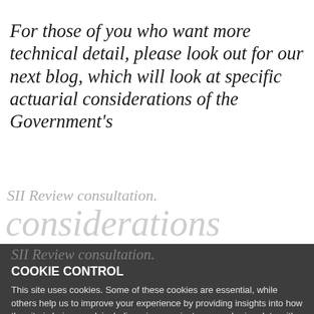For those of you who want more technical detail, please look out for our next blog, which will look at specific actuarial considerations of the Government's
SII Review consultation.
COOKIE CONTROL
This site uses cookies. Some of these cookies are essential, while others help us to improve your experience by providing insights into how the site is being used, including - in some instances - sharing data with other customers. You can use this tool to change your cookie settings. Otherwise, we'll assume you're OK to continue.
I'm fine with this
for financial services.
More details ∨